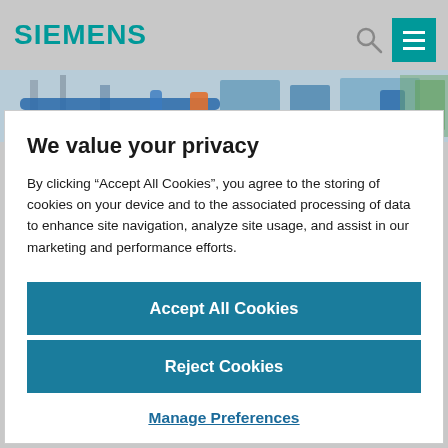SIEMENS
[Figure (photo): Industrial equipment — blue pipes and machinery on an offshore or industrial platform]
We value your privacy
By clicking “Accept All Cookies”, you agree to the storing of cookies on your device and to the associated processing of data to enhance site navigation, analyze site usage, and assist in our marketing and performance efforts.
Accept All Cookies
Reject Cookies
Manage Preferences